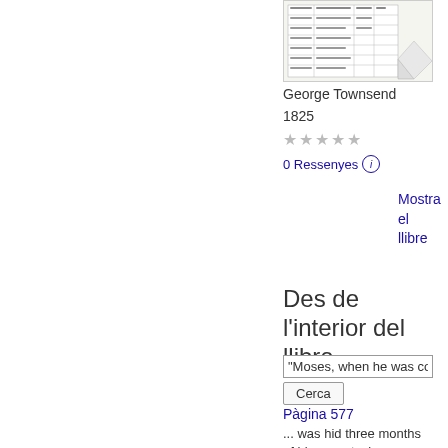[Figure (illustration): Thumbnail image of a book page showing a table with text and columns]
George Townsend
1825
★★★★★
0 Ressenyes ⓘ
Mostra el llibre
Des de l'interior del llibre
"Moses, when he was com
Cerca
Pàgina 577
... was hid three months of his parents, because